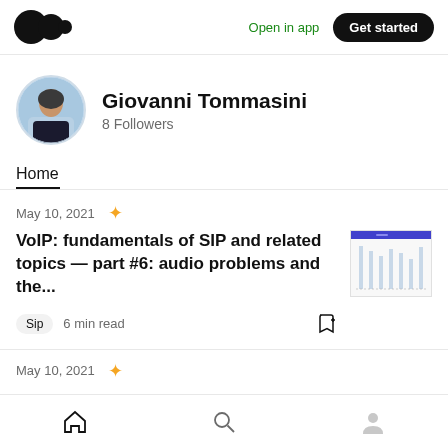Medium logo | Open in app | Get started
Giovanni Tommasini
8 Followers
Home
May 10, 2021
VoIP: fundamentals of SIP and related topics — part #6: audio problems and the...
Sip  6 min read
May 10, 2021